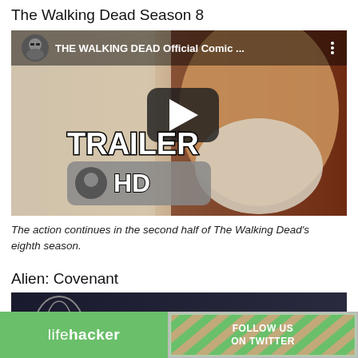The Walking Dead Season 8
[Figure (screenshot): YouTube video thumbnail showing a bearded man, with 'TRAILER HD' watermark overlay and YouTube play button. Channel name: THE WALKING DEAD Official Comic ...]
The action continues in the second half of The Walking Dead's eighth season.
Alien: Covenant
[Figure (screenshot): Partial YouTube video thumbnail for Alien: Covenant with Lifehacker advertisement banner overlay showing 'lifehacker' and 'FOLLOW US ON TWITTER']